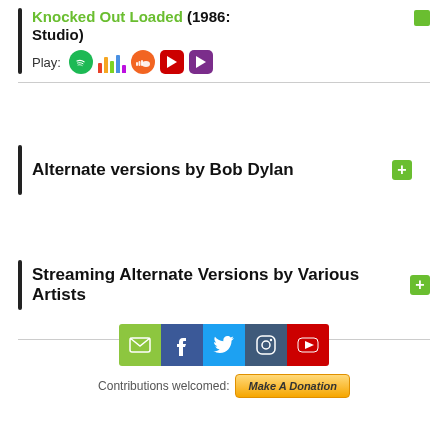Knocked Out Loaded (1986: Studio)
Play: [Spotify] [Charts] [SoundCloud] [YouTube] [YouTube Purple]
Alternate versions by Bob Dylan
Streaming Alternate Versions by Various Artists
Contributions welcomed: Make A Donation